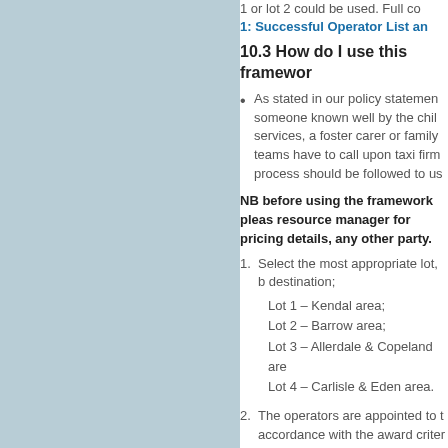1 or lot 2 could be used. Full co
1: Successful Operator List an
10.3 How do I use this framewor
As stated in our policy statemen someone known well by the chil services, a foster carer or family teams have to call upon taxi firm process should be followed to us
NB before using the framework pleas resource manager for pricing details, any other party.
Select the most appropriate lot, b destination;

Lot 1 – Kendal area;
Lot 2 – Barrow area;
Lot 3 – Allerdale & Copeland are
Lot 4 – Carlisle & Eden area.
The operators are appointed to t accordance with the award criter Operator List and LOTS.);
When a transport need arises, th accommodate your needs (e.g